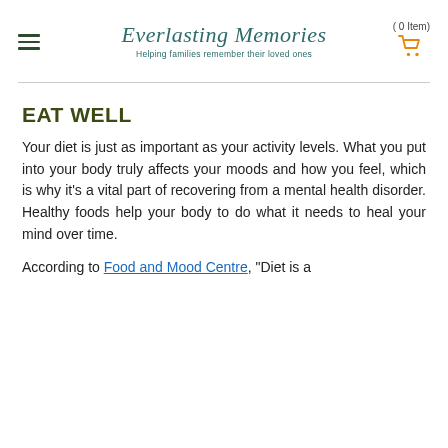Everlasting Memories — Helping families remember their loved ones | ( 0 Item)
EAT WELL
Your diet is just as important as your activity levels. What you put into your body truly affects your moods and how you feel, which is why it's a vital part of recovering from a mental health disorder. Healthy foods help your body to do what it needs to heal your mind over time.
According to Food and Mood Centre, "Diet is a